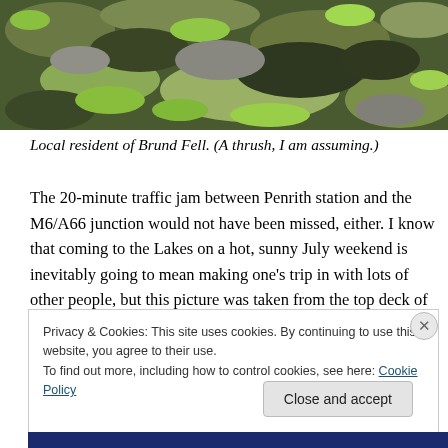[Figure (photo): Close-up photograph of mossy green and grey rock or stone surface, taken from a bus top deck.]
Local resident of Brund Fell. (A thrush, I am assuming.)
The 20-minute traffic jam between Penrith station and the M6/A66 junction would not have been missed, either. I know that coming to the Lakes on a hot, sunny July weekend is inevitably going to mean making one's trip in with lots of other people, but this picture was taken from the top deck of a bus that wasn't exactly bursting at the
Privacy & Cookies: This site uses cookies. By continuing to use this website, you agree to their use.
To find out more, including how to control cookies, see here: Cookie Policy